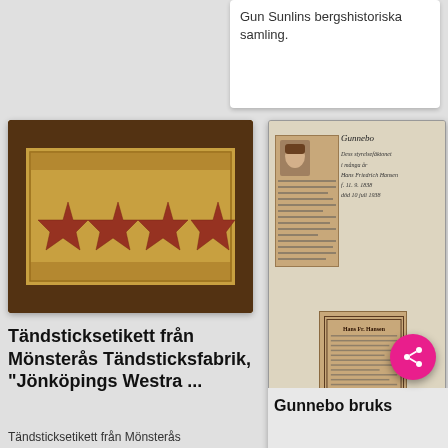Gun Sunlins bergshistoriska samling.
[Figure (photo): Tändsticksetikett (matchbox label) from Mönsterås Tändsticksfabrik showing red stars on dark background with ornate border]
Tändsticksetikett från Mönsterås Tändsticksfabrik, "Jönköpings Westra ..."
Tändsticksetikett från Mönsterås Tändsticksfabrik, "Jönköpings Westra Tändsticks-fabrik, impregnerade säkerhets-tändstickor"Mönsterås har haft två tändsticksfabriker.
[Figure (photo): Historical document page (Gunnebo) with newspaper clipping showing portrait of Hans Friedrich Hansen, handwritten notes in Swedish/German, and a death notice card]
Gunnebo bruks